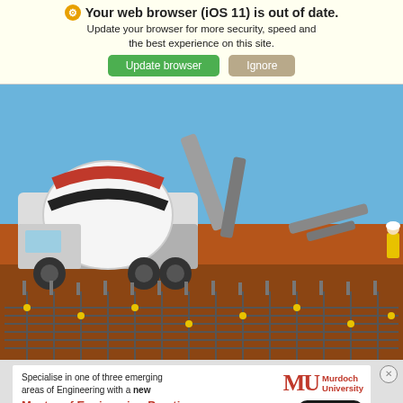Your web browser (iOS 11) is out of date. Update your browser for more security, speed and the best experience on this site.
[Figure (photo): Construction site showing a concrete mixer truck pouring concrete into reinforcement steel mesh formwork. Workers in high-visibility vests visible in background. Red dirt terrain with blue sky.]
[Figure (infographic): Murdoch University advertisement banner. Text: Specialise in one of three emerging areas of Engineering with a new Master of Engineering Practice. Apply Now button. Murdoch University MU logo in red.]